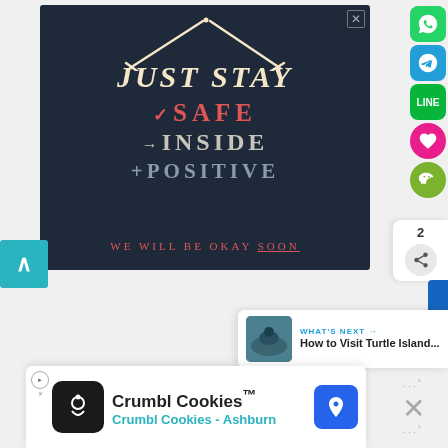[Figure (illustration): Dark navy blue advertisement with hand-drawn style text. Roof/house lines drawn at top. Text reads 'JUST STAY' with checkmark 'SAFE', arrow 'INSIDE', plus 'POSITIVE' and tagline 'WE WILL BE OKAY SOON' at the bottom in red letters with SOON underlined.]
[Figure (screenshot): Right side social sharing icons: WhatsApp (green), Telegram (blue), LINE (green), heart/like (pink), WeChat (green). Share count showing 2. Share button.]
[Figure (screenshot): What's Next panel with thumbnail image of Turtle Island and text 'WHAT'S NEXT → How to Visit Turtle Island...']
[Figure (screenshot): Bottom advertisement banner for Crumbl Cookies with logo, title 'Crumbl Cookies™', subtitle 'Crumbl Cookies - Ashburn', and blue arrow button. Ad label indicator and close button on right.]